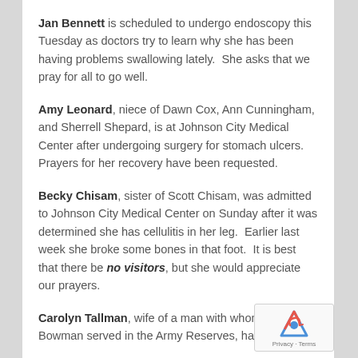Jan Bennett is scheduled to undergo endoscopy this Tuesday as doctors try to learn why she has been having problems swallowing lately.  She asks that we pray for all to go well.
Amy Leonard, niece of Dawn Cox, Ann Cunningham, and Sherrell Shepard, is at Johnson City Medical Center after undergoing surgery for stomach ulcers.  Prayers for her recovery have been requested.
Becky Chisam, sister of Scott Chisam, was admitted to Johnson City Medical Center on Sunday after it was determined she has cellulitis in her leg.  Earlier last week she broke some bones in that foot.  It is best that there be no visitors, but she would appreciate our prayers.
Carolyn Tallman, wife of a man with whom Dan Bowman served in the Army Reserves, has been sent...